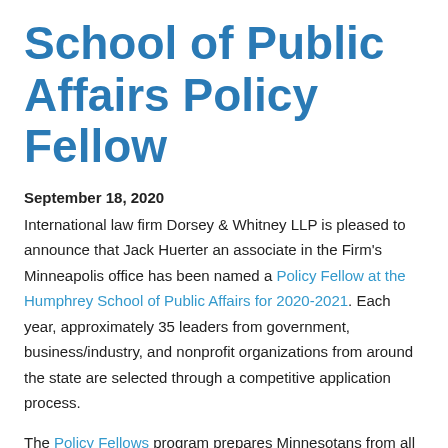School of Public Affairs Policy Fellow
September 18, 2020
International law firm Dorsey & Whitney LLP is pleased to announce that Jack Huerter an associate in the Firm's Minneapolis office has been named a Policy Fellow at the Humphrey School of Public Affairs for 2020-2021. Each year, approximately 35 leaders from government, business/industry, and nonprofit organizations from around the state are selected through a competitive application process.
The Policy Fellows program prepares Minnesotans from all professional sectors to bring a greater understanding of public affairs into their leadership